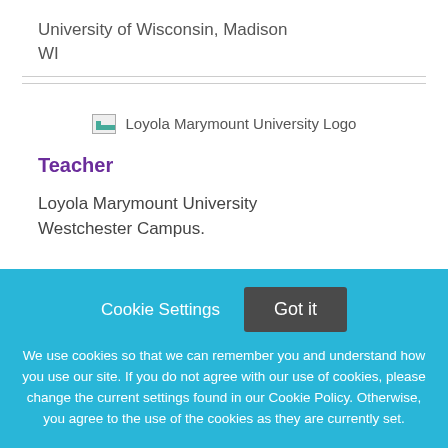University of Wisconsin, Madison
WI
[Figure (logo): Loyola Marymount University Logo placeholder image]
Teacher
Loyola Marymount University
Westchester Campus.
Cookie Settings
Got it
We use cookies so that we can remember you and understand how you use our site. If you do not agree with our use of cookies, please change the current settings found in our Cookie Policy. Otherwise, you agree to the use of the cookies as they are currently set.